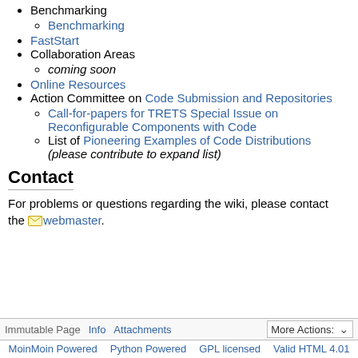Benchmarking
Benchmarking (link)
FastStart
Collaboration Areas
coming soon
Online Resources
Action Committee on Code Submission and Repositories
Call-for-papers for TRETS Special Issue on Reconfigurable Components with Code
List of Pioneering Examples of Code Distributions (please contribute to expand list)
Contact
For problems or questions regarding the wiki, please contact the ✉ webmaster.
Immutable Page  Info  Attachments  More Actions: | MoinMoin Powered  Python Powered  GPL licensed  Valid HTML 4.01